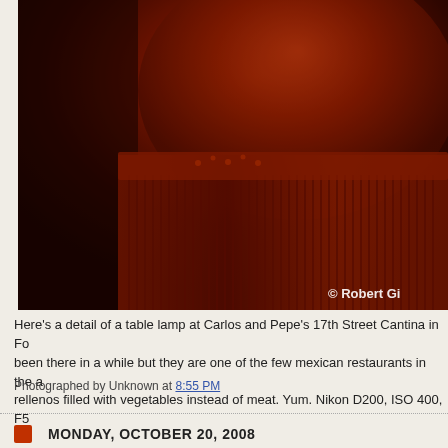[Figure (photo): Close-up detail of a table lamp at Carlos and Pepe's 17th Street Cantina, showing a decorative clay or ceramic lamp with a textured woven/fringe base, lit in red-orange tones. Copyright watermark reads '© Robert Gi' (truncated). Photo taken with Nikon D200, ISO 400, F5.]
Here's a detail of a table lamp at Carlos and Pepe's 17th Street Cantina in Fo... been there in a while but they are one of the few mexican restaurants in the a... rellenos filled with vegetables instead of meat. Yum. Nikon D200, ISO 400, F5...
Photographed by Unknown at 8:55 PM
MONDAY, OCTOBER 20, 2008